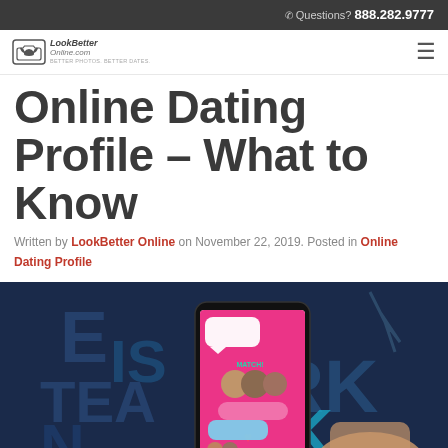Questions? 888.282.9777
[Figure (logo): LookBetter Online logo with camera/heart icon]
Online Dating Profile – What to Know
Written by LookBetter Online on November 22, 2019. Posted in Online Dating Profile
[Figure (photo): Hand holding a smartphone showing a dating app (Match) interface with pink background, in front of a dark blue background with large text letters visible]